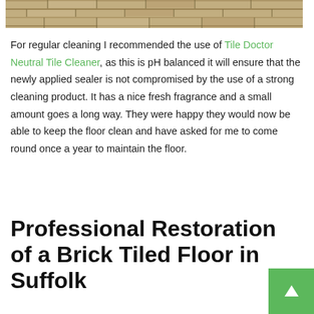[Figure (photo): Close-up photo of a brick tiled floor showing the texture and pattern of the stone/brick tiles in tan and grey tones]
For regular cleaning I recommended the use of Tile Doctor Neutral Tile Cleaner, as this is pH balanced it will ensure that the newly applied sealer is not compromised by the use of a strong cleaning product. It has a nice fresh fragrance and a small amount goes a long way. They were happy they would now be able to keep the floor clean and have asked for me to come round once a year to maintain the floor.
Professional Restoration of a Brick Tiled Floor in Suffolk